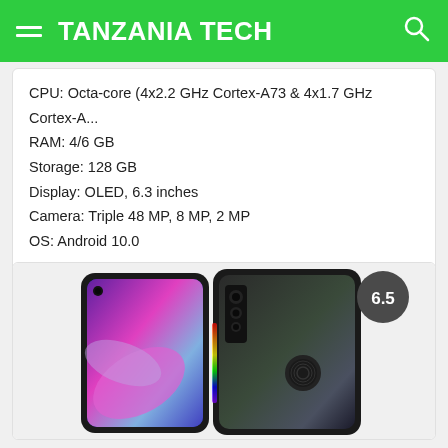TANZANIA TECH
CPU: Octa-core (4x2.2 GHz Cortex-A73 & 4x1.7 GHz Cortex-A...
RAM: 4/6 GB
Storage: 128 GB
Display: OLED, 6.3 inches
Camera: Triple 48 MP, 8 MP, 2 MP
OS: Android 10.0
Soma Zaidi →    Linganisha
[Figure (photo): Huawei smartphone shown from front (display side with punch-hole camera and colorful abstract wallpaper) and back (dark gradient back panel with triple camera and fingerprint sensor), with a score badge showing 6.5]